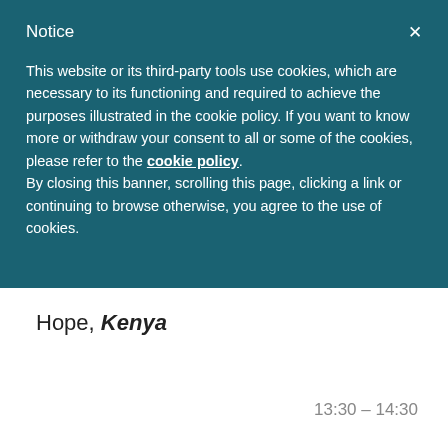Notice
This website or its third-party tools use cookies, which are necessary to its functioning and required to achieve the purposes illustrated in the cookie policy. If you want to know more or withdraw your consent to all or some of the cookies, please refer to the cookie policy.
By closing this banner, scrolling this page, clicking a link or continuing to browse otherwise, you agree to the use of cookies.
Hope, Kenya
13:30 – 14:30